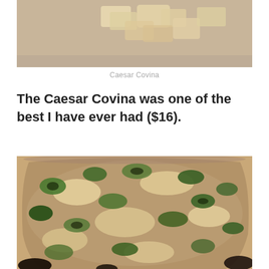[Figure (photo): Close-up photo of Caesar Covina dish — pasta or dough pieces on a beige/tan surface]
Caesar Covina
The Caesar Covina was one of the best I have ever had ($16).
[Figure (photo): Close-up overhead photo of a Caesar Covina pizza with charred greens/lettuce and creamy sauce on a round pan]